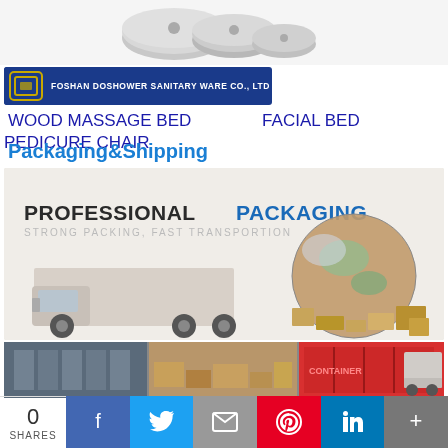[Figure (photo): Product photo of metallic massage bed components (stainless steel cylindrical parts) at top of page]
[Figure (logo): Foshan Doshower Sanitary Ware Co., Ltd company logo banner - blue and gold square logo icon with company name text]
WOOD MASSAGE BED    FACIAL BED    PEDICURE CHAIR
Packaging&Shipping
[Figure (photo): Professional Packaging promotional image showing a large cargo truck and a globe surrounded by cardboard boxes. Text reads: PROFESSIONAL PACKAGING, STRONG PACKING, FAST TRANSPORTION]
[Figure (photo): Warehouse and shipping containers photo strip at bottom]
0 SHARES | Facebook | Twitter | Email | Pinterest | LinkedIn | More